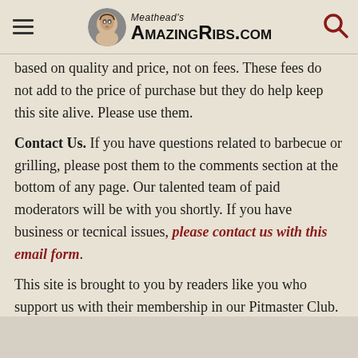Meathead's AmazingRibs.com
based on quality and price, not on fees. These fees do not add to the price of purchase but they do help keep this site alive. Please use them.
Contact Us. If you have questions related to barbecue or grilling, please post them to the comments section at the bottom of any page. Our talented team of paid moderators will be with you shortly. If you have business or tecnical issues, please contact us with this email form.
This site is brought to you by readers like you who support us with their membership in our Pitmaster Club. Click here to learn more about benefits to membership.